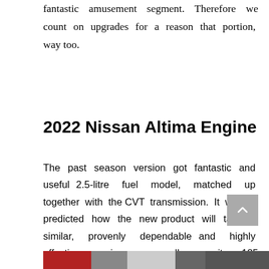fantastic amusement segment. Therefore we count on upgrades for a reason that portion, way too.
2022 Nissan Altima Engine
The past season version got fantastic and useful 2.5-litre fuel model, matched up together with the CVT transmission. It will be predicted how the new product will take a similar, provenly dependable and highly effective engine as well as its 185 horsepower along with 178 lb-toes connected with torque.
[Figure (photo): Bottom strip showing a partial view of a car engine compartment]